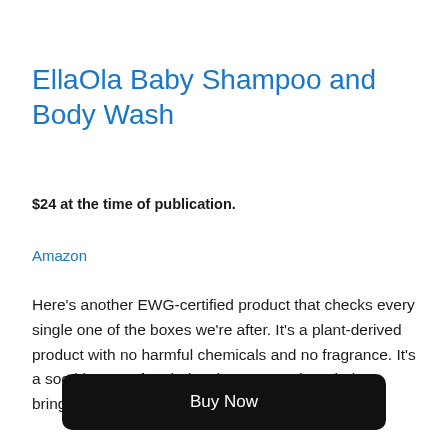EllaOla Baby Shampoo and Body Wash
$24 at the time of publication.
Amazon
Here’s another EWG-certified product that checks every single one of the boxes we’re after. It’s a plant-derived product with no harmful chemicals and no fragrance. It’s a soothing tear-free baby shampoo and wash that brings all the pros. The only con, again, is the price.
Buy Now